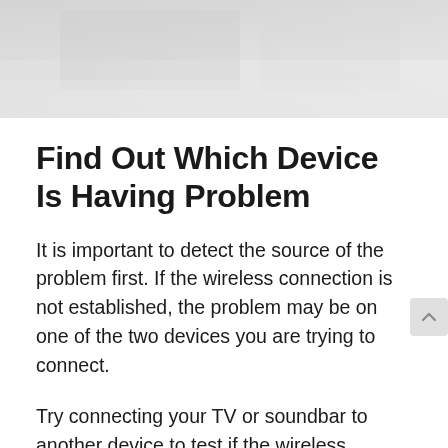[Figure (photo): Grayscale/light gray photo at top of page, partially visible, showing an interior scene]
Find Out Which Device Is Having Problem
It is important to detect the source of the problem first. If the wireless connection is not established, the problem may be on one of the two devices you are trying to connect.
Try connecting your TV or soundbar to another device to test if the wireless connection works. It will save you a lot of